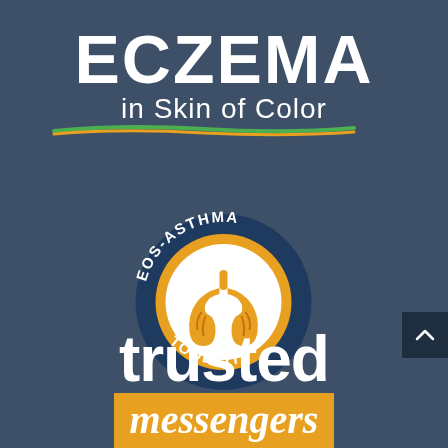[Figure (logo): Eczema in Skin of Color logo — large bold white 'ECZEMA' text above 'in Skin of Color' subtitle with green and orange underline brushstrokes, on dark blue-grey background]
[Figure (logo): EOS-Asthma Toolkit circular badge logo — white lungs icon on orange circle surrounded by dark blue ring with 'EOS-ASTHMA' text on top arc and 'TOOLKIT' text on bottom arc]
[Figure (logo): Trusted Messengers logo — 'trusted' in large white bold sans-serif text above 'messengers' in white italic text on an orange/gold background banner]